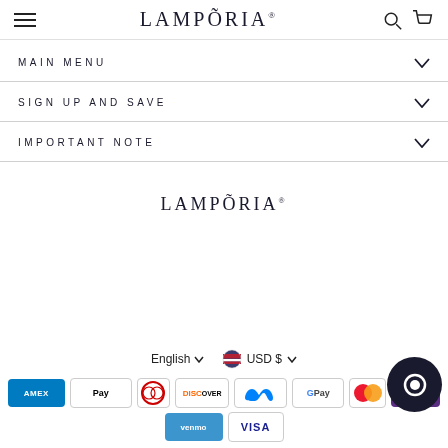LAMPÕRIA®
MAIN MENU
SIGN UP AND SAVE
IMPORTANT NOTE
[Figure (logo): Lamporia logo centered in body]
English  USD $  Payment methods: AMEX, Apple Pay, Diners, Discover, Meta, Google Pay, Mastercard, Venmo, Visa